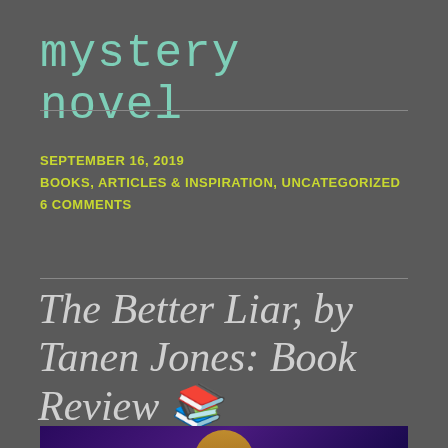mystery novel
SEPTEMBER 16, 2019
BOOKS, ARTICLES & INSPIRATION, UNCATEGORIZED
6 COMMENTS
The Better Liar, by Tanen Jones: Book Review 📚
[Figure (photo): Partial view of a book cover with purple/dark background and a golden/yellow figure, appears to be the cover art for 'The Better Liar' by Tanen Jones]